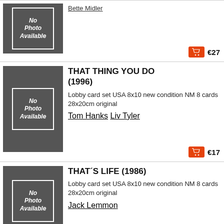[Figure (other): No Photo Available placeholder for first movie listing (partial, top cut off)]
Bette Midler
€27
[Figure (other): No Photo Available placeholder for THAT THING YOU DO (1996)]
THAT THING YOU DO (1996)
Lobby card set USA 8x10 new condition NM 8 cards 28x20cm original
Tom Hanks Liv Tyler
€17
[Figure (other): No Photo Available placeholder for THAT'S LIFE (1986)]
THAT´S LIFE (1986)
Lobby card set USA 8x10 new condition NM 8 cards 28x20cm original
Jack Lemmon